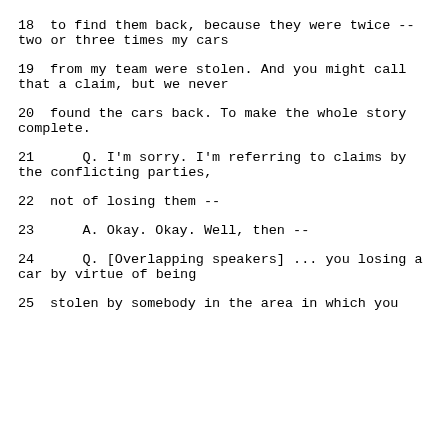18     to find them back, because they were twice --
two or three times my cars
19     from my team were stolen.  And you might call
that a claim, but we never
20     found the cars back.  To make the whole story
complete.
21        Q.   I'm sorry.  I'm referring to claims by
the conflicting parties,
22     not of losing them --
23        A.   Okay.  Okay.  Well, then --
24        Q.   [Overlapping speakers] ... you losing a
car by virtue of being
25     stolen by somebody in the area in which you